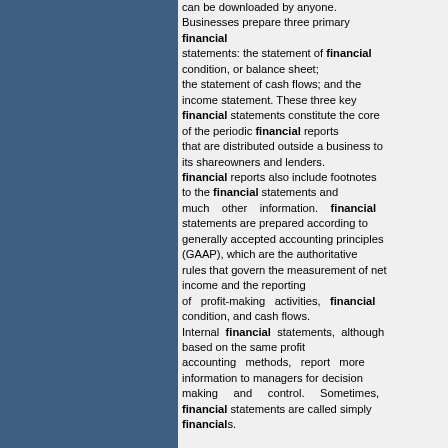can be downloaded by anyone. Businesses prepare three primary financial statements: the statement of financial condition, or balance sheet; the statement of cash flows; and the income statement. These three key financial statements constitute the core of the periodic financial reports that are distributed outside a business to its shareowners and lenders. financial reports also include footnotes to the financial statements and much other information. financial statements are prepared according to generally accepted accounting principles (GAAP), which are the authoritative rules that govern the measurement of net income and the reporting of profit-making activities, financial condition, and cash flows. Internal financial statements, although based on the same profit accounting methods, report more information to managers for decision making and control. Sometimes, financial statements are called simply financials.